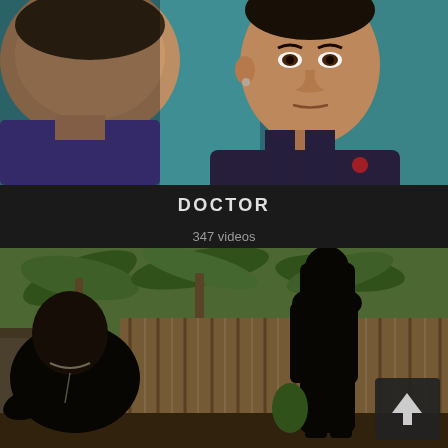[Figure (photo): Two men in close proximity, one facing away showing back of head, the other facing viewer wearing a dark tank top, against a teal/green background]
DOCTOR
347 videos
[Figure (photo): Outdoor scene with two men, palm trees and bamboo fence in background, one man seated on left, another standing facing away on right, with a scroll-to-top button overlay in bottom right corner]